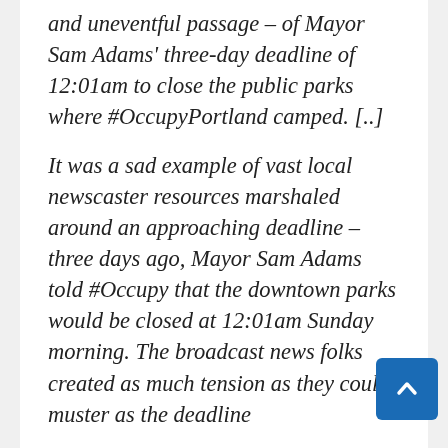and uneventful passage – of Mayor Sam Adams' three-day deadline of 12:01am to close the public parks where #OccupyPortland camped. [..]
It was a sad example of vast local newscaster resources marshaled around an approaching deadline – three days ago, Mayor Sam Adams told #Occupy that the downtown parks would be closed at 12:01am Sunday morning. The broadcast news folks created as much tension as they could muster as the deadline